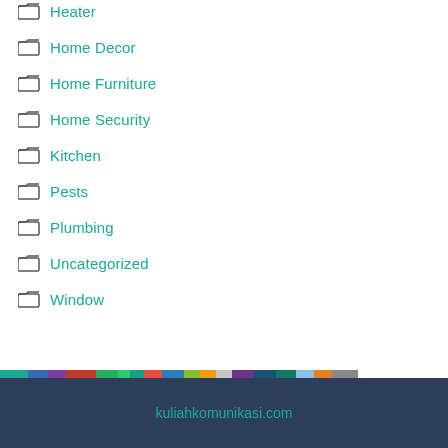Heater
Home Decor
Home Furniture
Home Security
Kitchen
Pests
Plumbing
Uncategorized
Window
kuliahkomunikasi.com